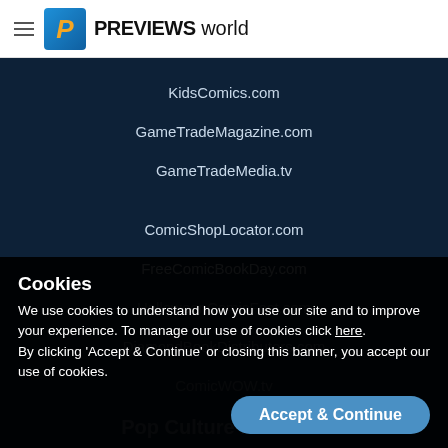PREVIEWS world
KidsComics.com
GameTradeMagazine.com
GameTradeMedia.tv
ComicShopLocator.com
FreeComicBookDay.com
HalloweenComicFest.com
DiamondBookDistributors.com
ComicWOW.tv
Pop Culture Products
Diamond Select
Gemstone Publishing
Cookies
We use cookies to understand how you use our site and to improve your experience. To manage our use of cookies click here.
By clicking 'Accept & Continue' or closing this banner, you accept our use of cookies.
Accept & Continue